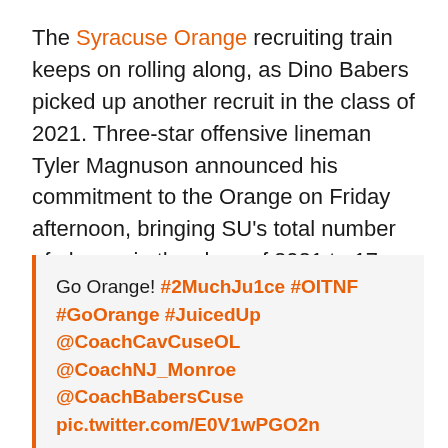The Syracuse Orange recruiting train keeps on rolling along, as Dino Babers picked up another recruit in the class of 2021. Three-star offensive lineman Tyler Magnuson announced his commitment to the Orange on Friday afternoon, bringing SU's total number of players in the class of 2021 to 17.
Go Orange! #2MuchJu1ce #OITNF #GoOrange #JuicedUp @CoachCavCuseOL @CoachNJ_Monroe @CoachBabersCuse pic.twitter.com/E0V1wPGO2n

— Tyler Magnuson (@TylerMagnuson7) August 7, 2020